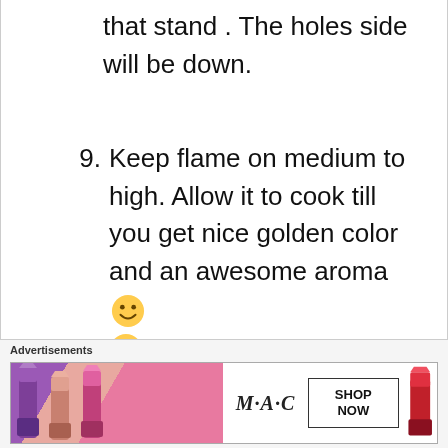that stand . The holes side will be down.
9. Keep flame on medium to high. Allow it to cook till you get nice golden color and an awesome aroma 🙂 🙂
10. Switch off the flame , pour Ghee on it
Advertisements
[Figure (photo): MAC cosmetics advertisement banner showing colorful lipsticks on the left, the MAC logo in the center, a SHOP NOW button box, and a red lipstick on the right.]